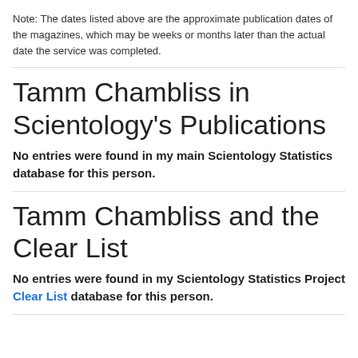Note: The dates listed above are the approximate publication dates of the magazines, which may be weeks or months later than the actual date the service was completed.
Tamm Chambliss in Scientology's Publications
No entries were found in my main Scientology Statistics database for this person.
Tamm Chambliss and the Clear List
No entries were found in my Scientology Statistics Project Clear List database for this person.